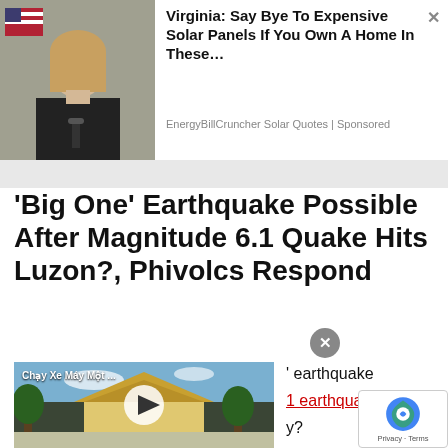[Figure (photo): Woman with blonde hair in front of an American flag, appears to be at a hearing or press conference]
Virginia: Say Bye To Expensive Solar Panels If You Own A Home In These…
EnergyBillCruncher Solar Quotes | Sponsored
'Big One' Earthquake Possible After Magnitude 6.1 Quake Hits Luzon?, Phivolcs Respond
[Figure (screenshot): Video thumbnail showing a Thai temple scene labeled 'Chạy Xe Máy Một ...' with a play button overlay]
' earthquake
1 earthquake hits
y?
2019), a mag